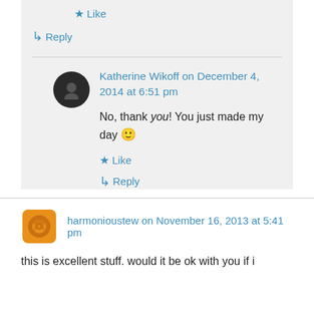★ Like
↳ Reply
Katherine Wikoff on December 4, 2014 at 6:51 pm
No, thank you! You just made my day 🙂
★ Like
↳ Reply
harmonioustew on November 16, 2013 at 5:41 pm
this is excellent stuff. would it be ok with you if i